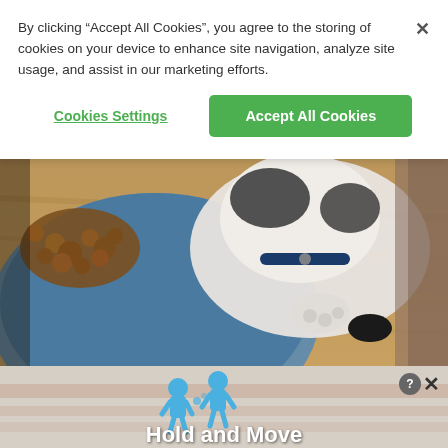By clicking “Accept All Cookies”, you agree to the storing of cookies on your device to enhance site navigation, analyze site usage, and assist in our marketing efforts.
Cookies Settings
Accept All Cookies
[Figure (photo): A dog with a black and white coat, wearing a collar, leaning over a blue bowl filled with brown dog kibble on a wood-grain floor, viewed from above.]
Want to give your dog the ultimate digestive health? Try this food.
[Figure (screenshot): Advertisement banner with blue 3D human figures and text 'Hold and Move' on a tan/pink background, with close and help icons in the top right.]